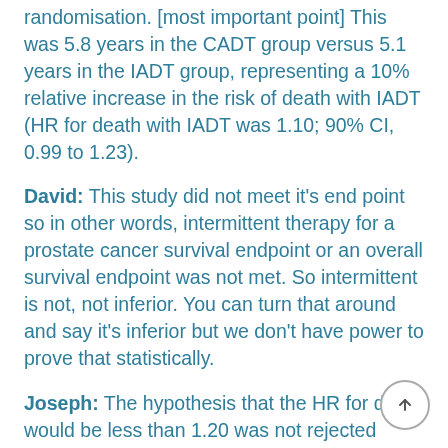randomisation. [most important point] This was 5.8 years in the CADT group versus 5.1 years in the IADT group, representing a 10% relative increase in the risk of death with IADT (HR for death with IADT was 1.10; 90% CI, 0.99 to 1.23).
David: This study did not meet it's end point so in other words, intermittent therapy for a prostate cancer survival endpoint or an overall survival endpoint was not met. So intermittent is not, not inferior. You can turn that around and say it's inferior but we don't have power to prove that statistically.
Joseph: The hypothesis that the HR for death would be less than 1.20 was not rejected because the upper limit of the 90% CI was 1.23, extending beyond the pre-determined non-inferiority threshold of 1.20.